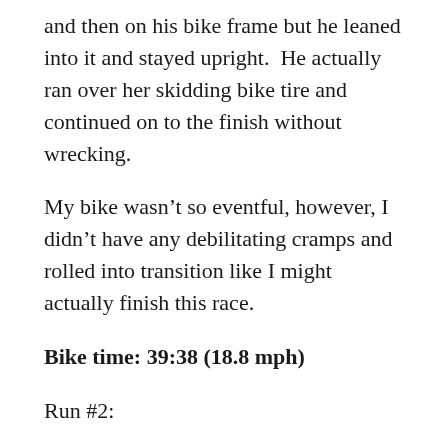and then on his bike frame but he leaned into it and stayed upright.  He actually ran over her skidding bike tire and continued on to the finish without wrecking.
My bike wasn't so eventful, however, I didn't have any debilitating cramps and rolled into transition like I might actually finish this race.
Bike time: 39:38 (18.8 mph)
Run #2:
I got back out on the run course and at this point, my goal is just to flipping finish.  When I started on the course the second time, the 60+ year old men were